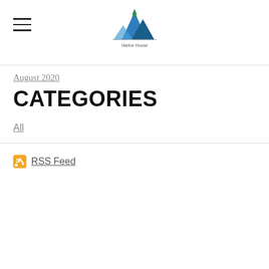Harbor House logo and navigation
August 2020
CATEGORIES
All
RSS Feed